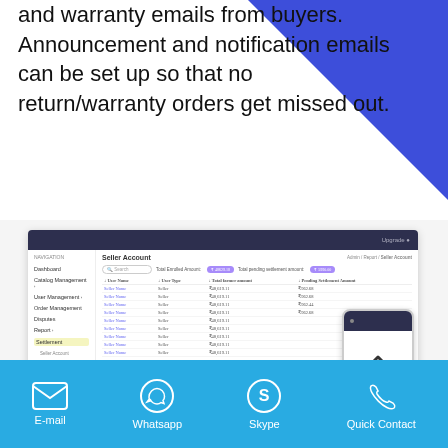and warranty emails from buyers. Announcement and notification emails can be set up so that no return/warranty orders get missed out.
[Figure (screenshot): Dashboard screenshot showing Seller Account page with sidebar navigation (Dashboard, Catalog Management, User Management, Order Management, Disputes, Report, Seller Account), a main content area with a table of seller names, user types, total farmer amounts, and pending settlement amounts, with purple badge totals shown. A mobile phone overlay is visible in the bottom right.]
E-mail
Whatsapp
Skype
Quick Contact